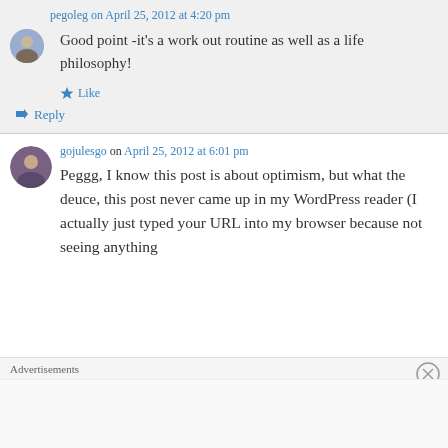pegoleg on April 25, 2012 at 4:20 pm
Good point -it's a work out routine as well as a life philosophy!
Like
Reply
gojulesgo on April 25, 2012 at 6:01 pm
Peggg, I know this post is about optimism, but what the deuce, this post never came up in my WordPress reader (I actually just typed your URL into my browser because not seeing anything from you in forever scared me NGL This i
Advertisements